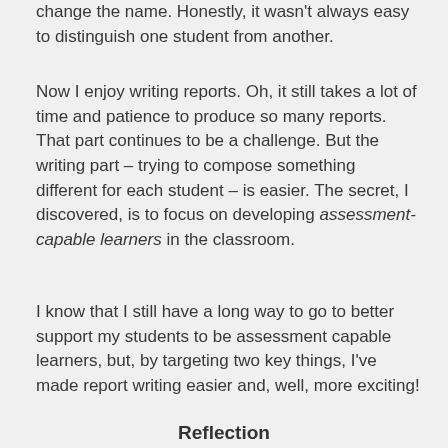change the name. Honestly, it wasn't always easy to distinguish one student from another.
Now I enjoy writing reports. Oh, it still takes a lot of time and patience to produce so many reports. That part continues to be a challenge. But the writing part – trying to compose something different for each student – is easier. The secret, I discovered, is to focus on developing assessment-capable learners in the classroom.
I know that I still have a long way to go to better support my students to be assessment capable learners, but, by targeting two key things, I've made report writing easier and, well, more exciting!
Reflection